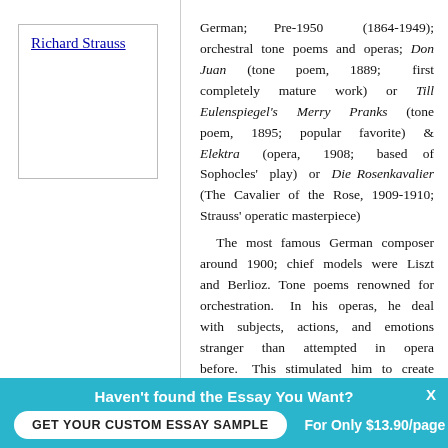[Figure (photo): Box with text link 'Richard Strauss' representing a photo placeholder]
German; Pre-1950 (1864-1949); orchestral tone poems and operas; Don Juan (tone poem, 1889; first completely mature work) or Till Eulenspiegel's Merry Pranks (tone poem, 1895; popular favorite) & Elektra (opera, 1908; based of Sophocles' play) or Die Rosenkavalier (The Cavalier of the Rose, 1909-1910; Strauss' operatic masterpiece)
The most famous German composer around 1900; chief models were Liszt and Berlioz. Tone poems renowned for orchestration. In his operas, he deal with subjects, actions, and emotions stranger than attempted in opera before. This stimulated him to create harmonically complex and dissonant musical idioms that greatly influenced
Haven't found the Essay You Want? GET YOUR CUSTOM ESSAY SAMPLE For Only $13.90/page